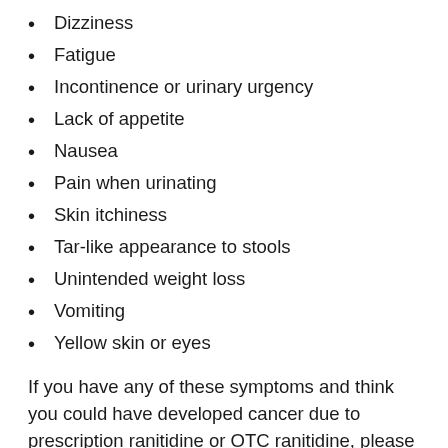Dizziness
Fatigue
Incontinence or urinary urgency
Lack of appetite
Nausea
Pain when urinating
Skin itchiness
Tar-like appearance to stools
Unintended weight loss
Vomiting
Yellow skin or eyes
If you have any of these symptoms and think you could have developed cancer due to prescription ranitidine or OTC ranitidine, please don’t hesitate to schedule an appointment with your regular doctor. After reviewing your symptoms and medical history,